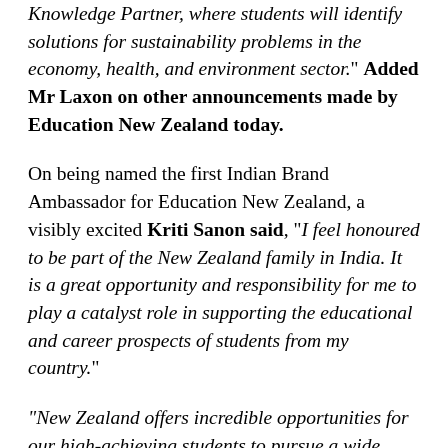Knowledge Partner, where students will identify solutions for sustainability problems in the economy, health, and environment sector." Added Mr Laxon on other announcements made by Education New Zealand today.
On being named the first Indian Brand Ambassador for Education New Zealand, a visibly excited Kriti Sanon said, "I feel honoured to be part of the New Zealand family in India. It is a great opportunity and responsibility for me to play a catalyst role in supporting the educational and career prospects of students from my country."
"New Zealand offers incredible opportunities for our high-achieving students to pursue a wide variety of quality courses in a positive and multicultural environment. I hope this exposure will help us shape